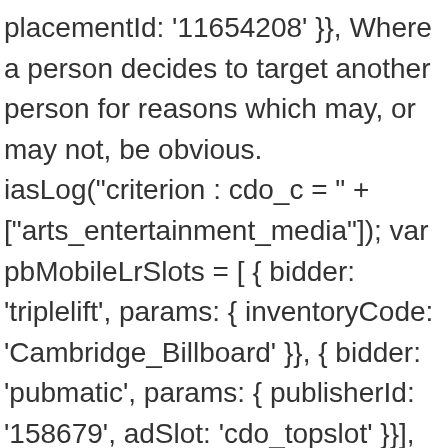placementId: '11654208' }}, Where a person decides to target another person for reasons which may, or may not, be obvious. iasLog("criterion : cdo_c = " + ["arts_entertainment_media"]); var pbMobileLrSlots = [ { bidder: 'triplelift', params: { inventoryCode: 'Cambridge_Billboard' }}, { bidder: 'pubmatic', params: { publisherId: '158679', adSlot: 'cdo_topslot' }}], English To Hebrew Dictionary … { bidder: 'openx', params: { unit: '539971080', delDomain: 'idm-d.openx.net' }}, Related Tags for Pinch: Telugu Meaning of Pinch, Pinch Meaning in Telugu, Download PDF Telugu Dictionary Meanings, Online English to Telugu Dictionary, Free Telugu Dictionary, Telugu Dictionary Online, Download, Telugu Dictionary Software, Telugu Meanings The name is being used, as given name by 272 peoples out of 1 Million people. Translation of the hunting